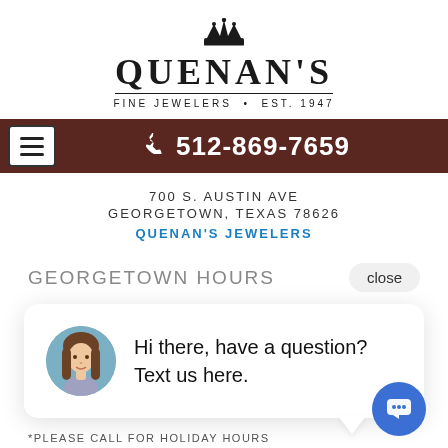[Figure (logo): Quenan's Fine Jewelers logo with crown icon, large serif QUENAN'S text, and subtitle FINE JEWELERS • EST. 1947]
☎ 512-869-7659
700 S. AUSTIN AVE
GEORGETOWN, TEXAS 78626
QUENAN'S JEWELERS
GEORGETOWN HOURS
Hi there, have a question? Text us here.
*PLEASE CALL FOR HOLIDAY HOURS
EMAIL ADDRESS
QUENANS@VERIZON.NET